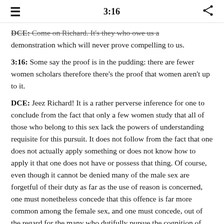≡   3:16   ⋮
DCE: Come on Richard. It's they who owe us a demonstration which will never prove compelling to us.
3:16: Some say the proof is in the pudding: there are fewer women scholars therefore there's the proof that women aren't up to it.
DCE: Jeez Richard! It is a rather perverse inference for one to conclude from the fact that only a few women study that all of those who belong to this sex lack the powers of understanding requisite for this pursuit. It does not follow from the fact that one does not actually apply something or does not know how to apply it that one does not have or possess that thing. Of course, even though it cannot be denied many of the male sex are forgetful of their duty as far as the use of reason is concerned, one must nonetheless concede that this offence is far more common among the female sex, and one must concede, out of the regard for the many who dutifully pursue the cognition of truth, that it is